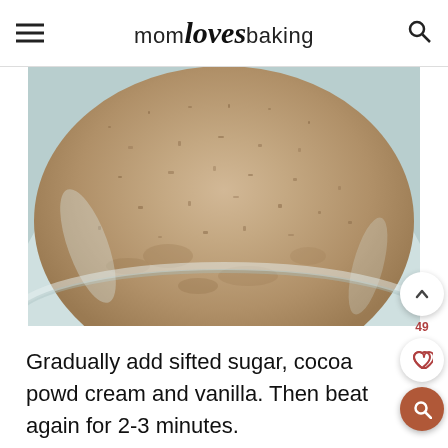mom loves baking
[Figure (photo): Close-up overhead photo of sifted flour or dry ingredient mixture mounded in a glass bowl, showing a tan/beige powdery texture with slight clumps.]
Gradually add sifted sugar, cocoa powder, cream and vanilla. Then beat again for 2-3 minutes.